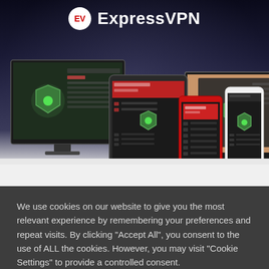[Figure (screenshot): ExpressVPN promotional screenshot showing the ExpressVPN logo at the top and multiple devices (desktop monitor, laptop, tablet, smartphone, iPhone) displaying the ExpressVPN app interface with a green shield icon on a dark night sky background]
We use cookies on our website to give you the most relevant experience by remembering your preferences and repeat visits. By clicking “Accept All”, you consent to the use of ALL the cookies. However, you may visit “Cookie Settings” to provide a controlled consent.
Cookie Settings
Accept All